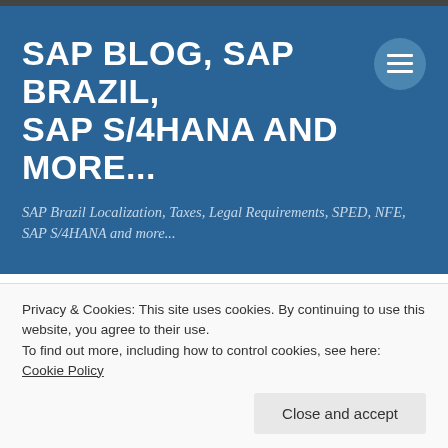SAP BLOG, SAP BRAZIL, SAP S/4HANA AND MORE...
SAP Brazil Localization, Taxes, Legal Requirements, SPED, NFE, SAP S/4HANA and more...
TAXES
TAXBRJ or TAXBRA – The SAP Brazilian Tax
Privacy & Cookies: This site uses cookies. By continuing to use this website, you agree to their use.
To find out more, including how to control cookies, see here: Cookie Policy
Close and accept